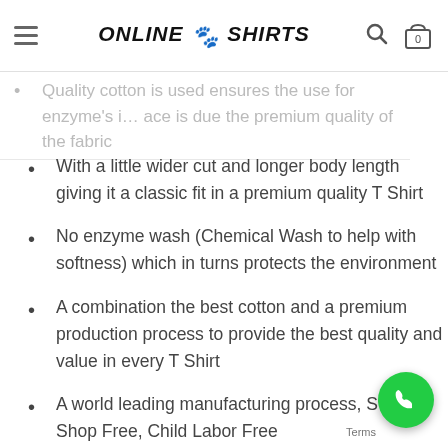ONLINE T-SHIRTS (logo/nav bar)
Quality cotton is used ensures the use for enzyme's … ace is due the premium quality of the fabric
With a little wider cut and longer body length giving it a classic fit in a premium quality T Shirt
No enzyme wash (Chemical Wash to help with softness) which in turns protects the environment
A combination the best cotton and a premium production process to provide the best quality and value in every T Shirt
A world leading manufacturing process, Sweat Shop Free, Child Labor Free
Ethically sourced and produced
The T Shirt has been endorsed by Cotton Australia